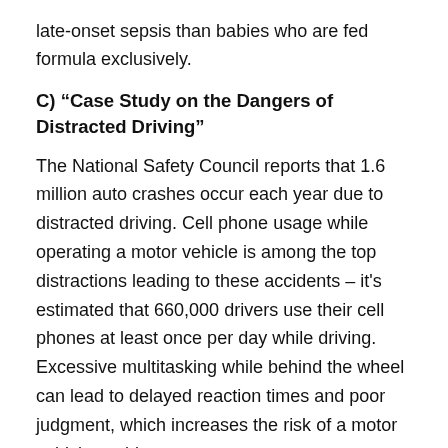late-onset sepsis than babies who are fed formula exclusively.
C) "Case Study on the Dangers of Distracted Driving"
The National Safety Council reports that 1.6 million auto crashes occur each year due to distracted driving. Cell phone usage while operating a motor vehicle is among the top distractions leading to these accidents – it's estimated that 660,000 drivers use their cell phones at least once per day while driving. Excessive multitasking while behind the wheel can lead to delayed reaction times and poor judgment, which increases the risk of a motor vehicle accident.
Here are pdf case analysis examples: